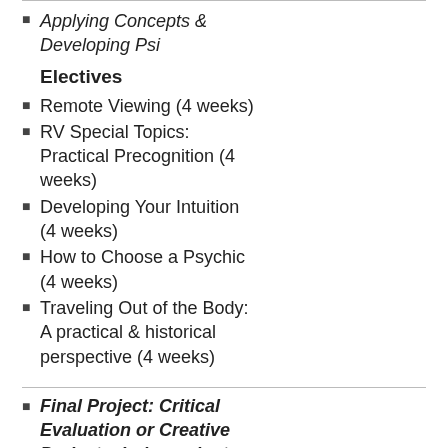Applying Concepts & Developing Psi
Electives
Remote Viewing (4 weeks)
RV Special Topics: Practical Precognition (4 weeks)
Developing Your Intuition (4 weeks)
How to Choose a Psychic (4 weeks)
Traveling Out of the Body: A practical & historical perspective (4 weeks)
Final Project: Critical Evaluation or Creative Project – Independent Study